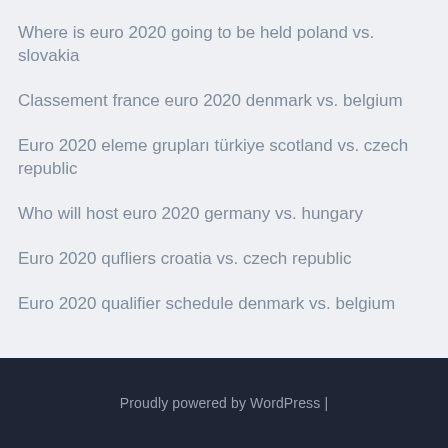Where is euro 2020 going to be held poland vs. slovakia
Classement france euro 2020 denmark vs. belgium
Euro 2020 eleme grupları türkiye scotland vs. czech republic
Who will host euro 2020 germany vs. hungary
Euro 2020 qufliers croatia vs. czech republic
Euro 2020 qualifier schedule denmark vs. belgium
Proudly powered by WordPress |